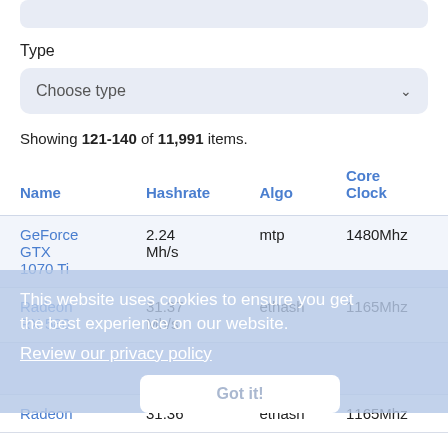Choose Algo (partially visible top)
Type
Choose type
Showing 121-140 of 11,991 items.
| Name | Hashrate | Algo | Core Clock |
| --- | --- | --- | --- |
| GeForce GTX 1070 Ti | 2.24 Mh/s | mtp | 1480Mhz |
| Radeon RX 580 | 31.37 Mh/s | ethash | 1165Mhz |
|  |  |  |  |
| Radeon | 31.36 | ethash | 1165Mhz |
This website uses cookies to ensure you get the best experience on our website. Review our privacy policy Got it!